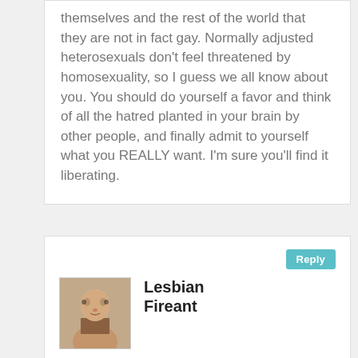themselves and the rest of the world that they are not in fact gay. Normally adjusted heterosexuals don't feel threatened by homosexuality, so I guess we all know about you. You should do yourself a favor and think of all the hatred planted in your brain by other people, and finally admit to yourself what you REALLY want. I'm sure you'll find it liberating.
[Figure (photo): Profile photo of user Lesbian Fireant]
Lesbian Fireant